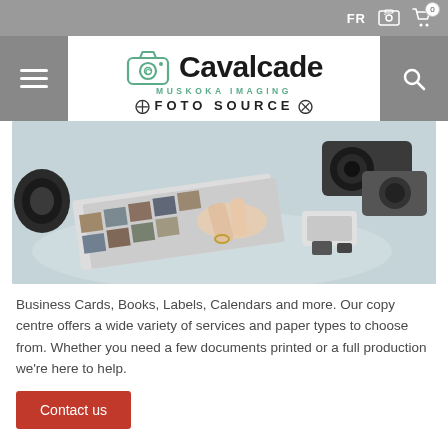FR [image icon] [cart icon 0]
[Figure (logo): Cavalcade Muskoka Imaging - Foto Source logo with camera icon]
[Figure (photo): Person pointing at photo prints on a table with cameras and photography equipment surrounding them]
Business Cards, Books, Labels, Calendars and more. Our copy centre offers a wide variety of services and paper types to choose from. Whether you need a few documents printed or a full production we're here to help.
Contact us